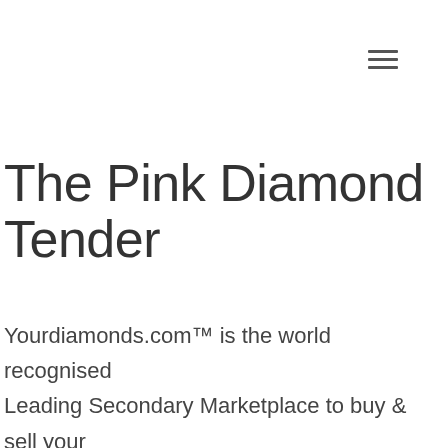[Figure (other): Hamburger menu icon (three horizontal lines) in the top-right corner]
The Pink Diamond Tender
Yourdiamonds.com™ is the world recognised Leading Secondary Marketplace to buy & sell your Australian Pink Diamonds